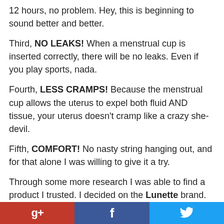12 hours, no problem. Hey, this is beginning to sound better and better.
Third, NO LEAKS! When a menstrual cup is inserted correctly, there will be no leaks. Even if you play sports, nada.
Fourth, LESS CRAMPS! Because the menstrual cup allows the uterus to expel both fluid AND tissue, your uterus doesn't cramp like a crazy she-devil.
Fifth, COMFORT! No nasty string hanging out, and for that alone I was willing to give it a try.
Through some more research I was able to find a product I trusted. I decided on the Lunette brand. What I liked about them is the different size options. Size 1 is for women who are not sexually active or haven't had children. Size 2 is for women who have. Made with a medical-grade silicone, I knew it would be naturally resistant to bacteria. I also liked
g+  f  twitter icons